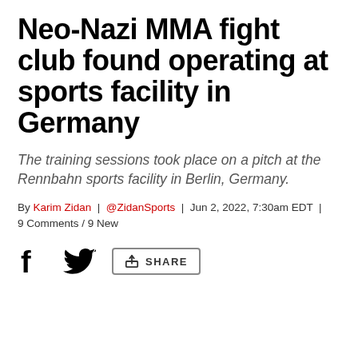Neo-Nazi MMA fight club found operating at sports facility in Germany
The training sessions took place on a pitch at the Rennbahn sports facility in Berlin, Germany.
By Karim Zidan | @ZidanSports | Jun 2, 2022, 7:30am EDT | 9 Comments / 9 New
[Figure (infographic): Social share bar with Facebook icon, Twitter bird icon, and a Share button with upload/share icon and label SHARE]